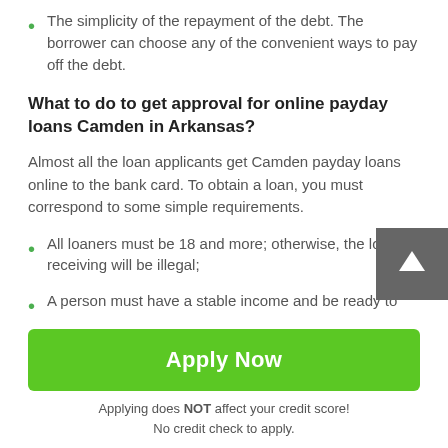The simplicity of the repayment of the debt. The borrower can choose any of the convenient ways to pay off the debt.
What to do to get approval for online payday loans Camden in Arkansas?
Almost all the loan applicants get Camden payday loans online to the bank card. To obtain a loan, you must correspond to some simple requirements.
All loaners must be 18 and more; otherwise, the loan receiving will be illegal;
A person must have a stable income and be ready to
Apply Now
Applying does NOT affect your credit score!
No credit check to apply.